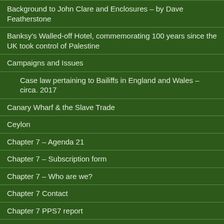Background to John Clare and Enclosures – by Dave Featherstone
Banksy's Walled-off Hotel, commemorating 100 years since the UK took control of Palestine
Campaigns and Issues
Case law pertaining to Bailiffs in England and Wales – circa. 2017
Canary Wharf & the Slave Trade
Ceylon
Chapter 7 – Agenda 21
Chapter 7 – Subscription form
Chapter 7 – Who are we?
Chapter 7 Contact
Chapter 7 PPS7 report
Chapter7 Homepage